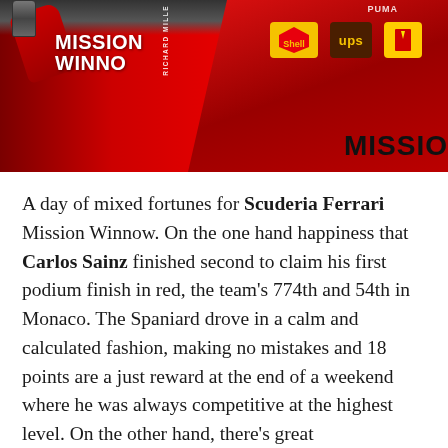[Figure (photo): Two Ferrari Formula 1 drivers in red Scuderia Ferrari Mission Winnow racing suits. Left driver has arm raised with trophy. Right driver shows Shell, UPS, and Ferrari logos on suit. Dark background.]
A day of mixed fortunes for Scuderia Ferrari Mission Winnow. On the one hand happiness that Carlos Sainz finished second to claim his first podium finish in red, the team's 774th and 54th in Monaco. The Spaniard drove in a calm and calculated fashion, making no mistakes and 18 points are a just reward at the end of a weekend where he was always competitive at the highest level. On the other hand, there's great disappointment that Charles Leclerc was not even able to line up on the pole position slot on the grid, after his magnificent qualifying performance yesterday afternoon. Unfortunately, on